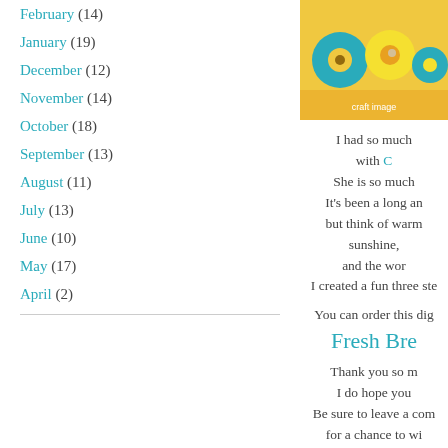February (14)
January (19)
December (12)
November (14)
October (18)
September (13)
August (11)
July (13)
June (10)
May (17)
April (2)
[Figure (photo): Craft/scrapbooking image with teal and yellow flowers on a decorative strip]
I had so much with C She is so much It's been a long an but think of warm sunshine, and the wor I created a fun three ste
You can order this dig
Fresh Bre
Thank you so m I do hope you Be sure to leave a com for a chance to wi
You have until Ma
It is time for you to hop on o